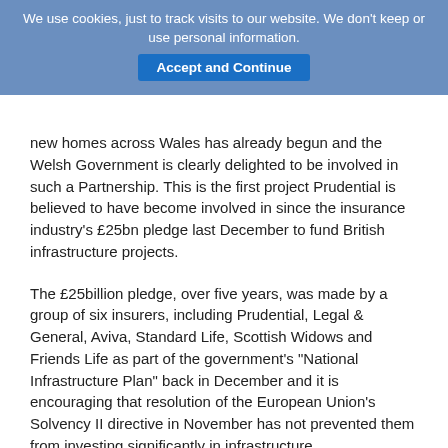We use cookies, just to track visits to our website. We don't keep or use personal information. [Accept and Continue]
new homes across Wales has already begun and the Welsh Government is clearly delighted to be involved in such a Partnership. This is the first project Prudential is believed to have become involved in since the insurance industry's £25bn pledge last December to fund British infrastructure projects.
The £25billion pledge, over five years, was made by a group of six insurers, including Prudential, Legal & General, Aviva, Standard Life, Scottish Widows and Friends Life as part of the government's "National Infrastructure Plan" back in December and it is encouraging that resolution of the European Union's Solvency II directive in November has not prevented them from investing significantly in infrastructure.
This is, we hope, the shape of things to come and that is why we have founded 'New City Agenda' as a forum to give fresh thinking to issues in financial services, and assist in the development of appropriate and sustainable public policy. It is a response to the lack of new ideas and challenging perspectives emerging from current analyses of the issues facing the industry, government and